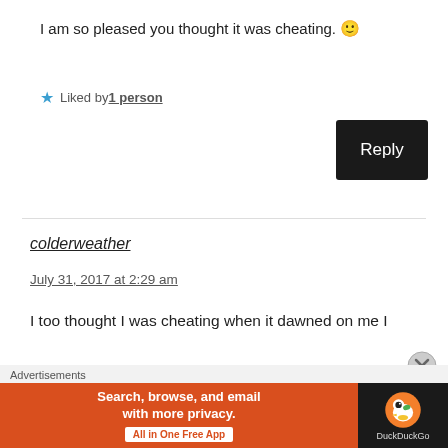I am so pleased you thought it was cheating. 🙂
★ Liked by 1 person
Reply
colderweather
July 31, 2017 at 2:29 am
I too thought I was cheating when it dawned on me I
[Figure (screenshot): DuckDuckGo advertisement banner: orange section with text 'Search, browse, and email with more privacy. All in One Free App' and dark section with DuckDuckGo duck logo and brand name.]